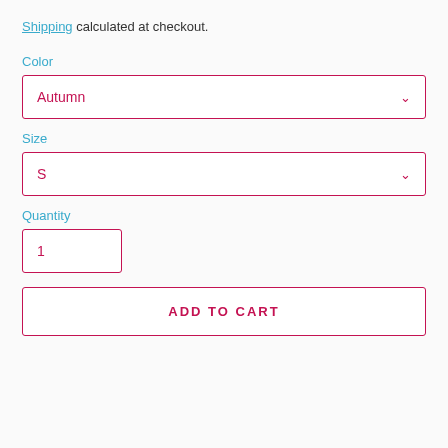Shipping calculated at checkout.
Color
Autumn
Size
S
Quantity
1
ADD TO CART